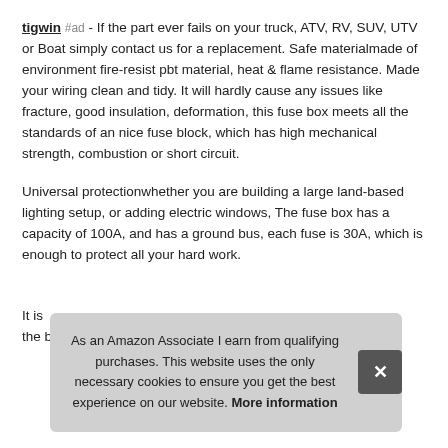tigwin #ad - If the part ever fails on your truck, ATV, RV, SUV, UTV or Boat simply contact us for a replacement. Safe materialmade of environment fire-resist pbt material, heat & flame resistance. Made your wiring clean and tidy. It will hardly cause any issues like fracture, good insulation, deformation, this fuse box meets all the standards of an nice fuse block, which has high mechanical strength, combustion or short circuit.
Universal protectionwhether you are building a large land-based lighting setup, or adding electric windows, The fuse box has a capacity of 100A, and has a ground bus, each fuse is 30A, which is enough to protect all your hard work.
It is ... the blown fuse.
As an Amazon Associate I earn from qualifying purchases. This website uses the only necessary cookies to ensure you get the best experience on our website. More information